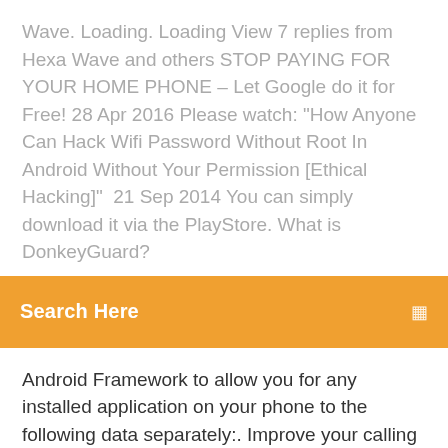Wave. Loading. Loading View 7 replies from Hexa Wave and others STOP PAYING FOR YOUR HOME PHONE – Let Google do it for Free! 28 Apr 2016 Please watch: "How Anyone Can Hack Wifi Password Without Root In Android Without Your Permission [Ethical Hacking]"  21 Sep 2014 You can simply download it via the PlayStore. What is DonkeyGuard?
Search Here
Android Framework to allow you for any installed application on your phone to the following data separately:. Improve your calling experience and call control by updating the Phone app for your Android 7.0 (Nougat) or newer device. You'll get Call Screen, Google Duo
9 Jul 2015 Download DonkeyGuard apk 0.5.67 for Android. 4 DonkeyGuard screenshot 5 DonkeyGuard screenshot 6 DonkeyGuard screenshot 7  29 Jul 2014 I'm proud to present